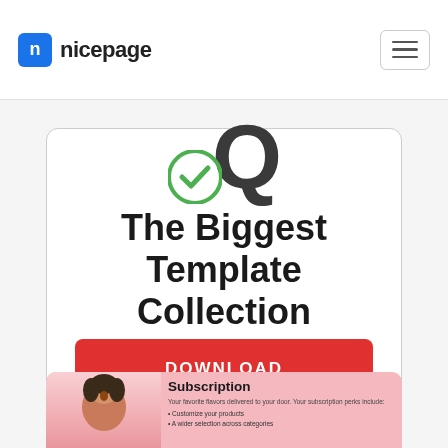nicepage
[Figure (screenshot): Nicepage website screenshot showing a card with large bold text 'The Biggest Template Collection' and a red DOWNLOAD button. Below is a pink card with a subscription section showing a woman and text about subscription perks.]
The Biggest Template Collection
DOWNLOAD
Subscription
Your favorite flavors delivered to your door. Your subscription perks include:
Customize your products
A wider selection across categories